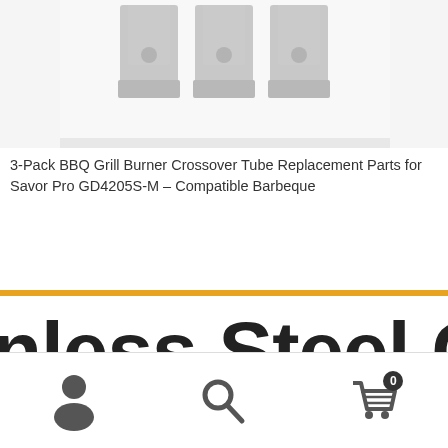[Figure (photo): Product photo showing three stainless steel BBQ grill burner crossover tube replacement parts arranged side by side on a white/light gray background. The parts are metal clips/brackets with holes.]
3-Pack BBQ Grill Burner Crossover Tube Replacement Parts for Savor Pro GD4205S-M – Compatible Barbeque
nless Steel Grill B
[Figure (screenshot): Bottom navigation bar with three icons: user/person icon on the left, search/magnifying glass icon in the center, and shopping cart icon with badge showing '0' on the right.]